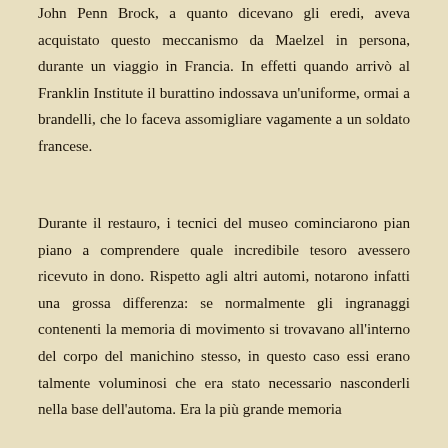John Penn Brock, a quanto dicevano gli eredi, aveva acquistato questo meccanismo da Maelzel in persona, durante un viaggio in Francia. In effetti quando arrivò al Franklin Institute il burattino indossava un'uniforme, ormai a brandelli, che lo faceva assomigliare vagamente a un soldato francese.
Durante il restauro, i tecnici del museo cominciarono pian piano a comprendere quale incredibile tesoro avessero ricevuto in dono. Rispetto agli altri automi, notarono infatti una grossa differenza: se normalmente gli ingranaggi contenenti la memoria di movimento si trovavano all'interno del corpo del manichino stesso, in questo caso essi erano talmente voluminosi che era stato necessario nasconderli nella base dell'automa. Era la più grande memoria